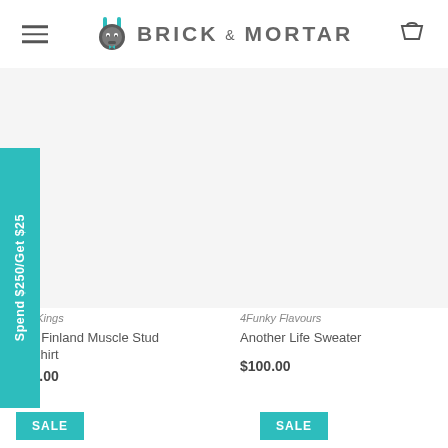Brick & Mortar
Spend $250/Get $25
Schy Kings — n of Finland Muscle Stud eatshirt — $49.00
4Funky Flavours — Another Life Sweater — $100.00
SALE
SALE